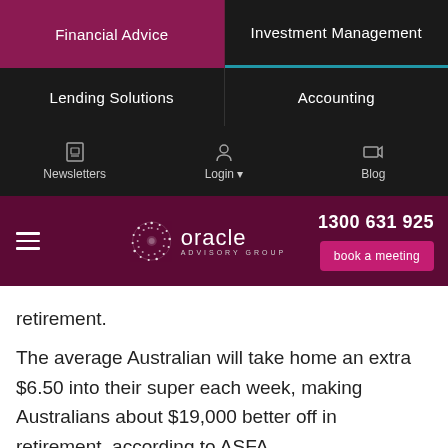Financial Advice | Investment Management | Lending Solutions | Accounting | Newsletters | Login | Blog
[Figure (logo): Oracle Advisory Group logo with phone number 1300 631 925 and book a meeting button]
retirement.
The average Australian will take home an extra $6.50 into their super each week, making Australians about $19,000 better off in retirement, according to ASFA.
This is the first change in super increases series, your super will continue to increase